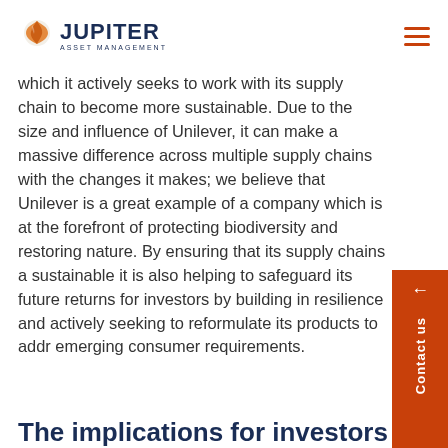Jupiter Asset Management
which it actively seeks to work with its supply chain to become more sustainable. Due to the size and influence of Unilever, it can make a massive difference across multiple supply chains with the changes it makes; we believe that Unilever is a great example of a company which is at the forefront of protecting biodiversity and restoring nature. By ensuring that its supply chains are sustainable it is also helping to safeguard its future returns for investors by building in resilience and actively seeking to reformulate its products to address emerging consumer requirements.
The implications for investors